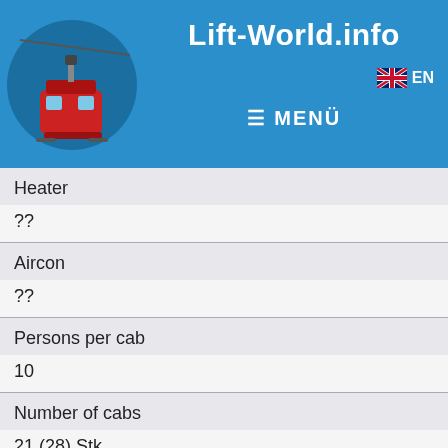Lift-World.info  ☰ MENÜ  EN
| Field | Value |
| --- | --- |
| Heater | ?? |
| Aircon | ?? |
| Persons per cab | 10 |
| Number of cabs | 21 (28) Stk |
| Cab distance | ?? m |
| Cab interval | ?? s |